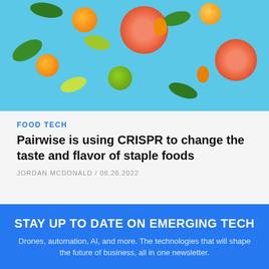[Figure (photo): Overhead flat-lay photo of various citrus fruits and leaves on a light blue background, including grapefruit halves, oranges, kumquats, limes, and green leaves.]
FOOD TECH
Pairwise is using CRISPR to change the taste and flavor of staple foods
JORDAN MCDONALD / 08.26.2022
STAY UP TO DATE ON EMERGING TECH
Drones, automation, AI, and more. The technologies that will shape the future of business, all in one newsletter.